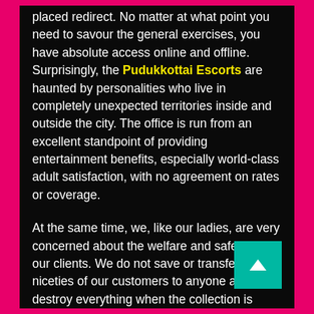placed redirect. No matter at what point you need to savour the general exercises, you have absolute access online and offline. Surprisingly, the Pudukkottai Escorts are haunted by personalities who live in completely unexpected territories inside and outside the city. The office is run from an excellent standpoint of providing entertainment benefits, especially world-class adult satisfaction, with no agreement on rates or coverage.

At the same time, we, like our ladies, are very concerned about the welfare and safety of our clients. We do not save or transfer the niceties of our customers to anyone and we destroy everything when the collection is over.